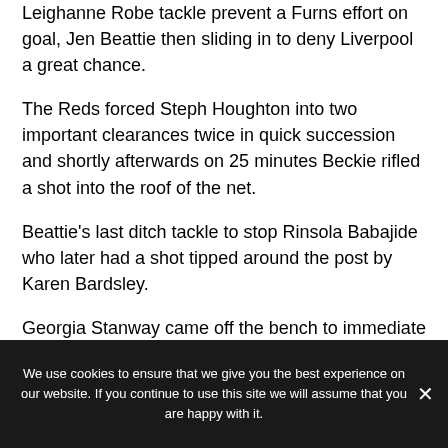Leighanne Robe tackle prevent a Furns effort on goal, Jen Beattie then sliding in to deny Liverpool a great chance.
The Reds forced Steph Houghton into two important clearances twice in quick succession and shortly afterwards on 25 minutes Beckie rifled a shot into the roof of the net.
Beattie’s last ditch tackle to stop Rinsola Babajide who later had a shot tipped around the post by Karen Bardsley.
Georgia Stanway came off the bench to immediate
We use cookies to ensure that we give you the best experience on our website. If you continue to use this site we will assume that you are happy with it.